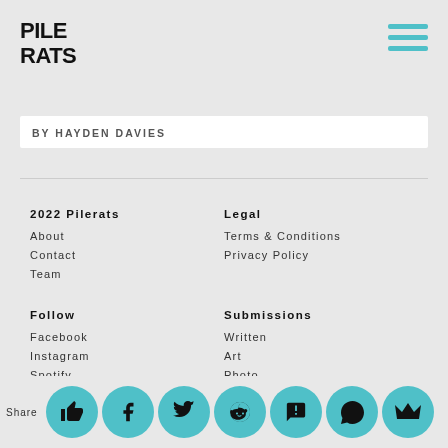[Figure (logo): Pilerats logo — hand-drawn style text spelling PILE RATS in two lines]
BY HAYDEN DAVIES
2022 Pilerats | About | Contact | Team | Legal | Terms & Conditions | Privacy Policy | Follow | Facebook | Instagram | Spotify | Soundcloud | Youtube | Twitter | Submissions | Written | Art | Photo | Video | Music | Label
Share